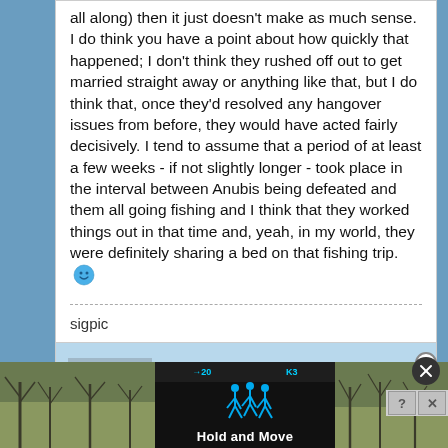all along) then it just doesn't make as much sense. I do think you have a point about how quickly that happened; I don't think they rushed off out to get married straight away or anything like that, but I do think that, once they'd resolved any hangover issues from before, they would have acted fairly decisively. I tend to assume that a period of at least a few weeks - if not slightly longer - took place in the interval between Anubis being defeated and them all going fishing and I think that they worked things out in that time and, yeah, in my world, they were definitely sharing a bed on that fishing trip. 🙂
sigpic
[Figure (screenshot): Bottom portion of a forum post showing an avatar placeholder and a partial game advertisement overlay reading 'Hold and Move']